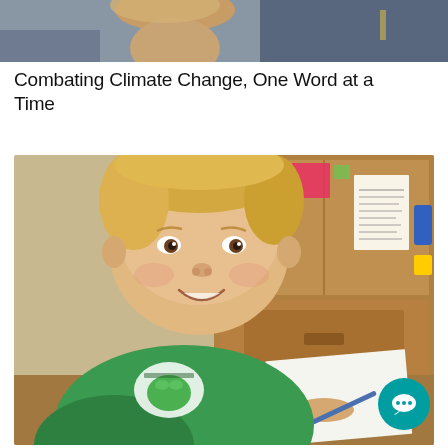[Figure (photo): Top cropped photo showing a child with light hair and a person in blue clothing in the background]
Combating Climate Change, One Word at a Time
[Figure (photo): A young blonde boy wearing a green t-shirt with a frog logo, sitting at a wooden desk/drawer unit in a classroom, smiling at the camera while writing on white paper with a pencil. Sticky notes and a posted paper are visible on the wooden cabinet behind him.]